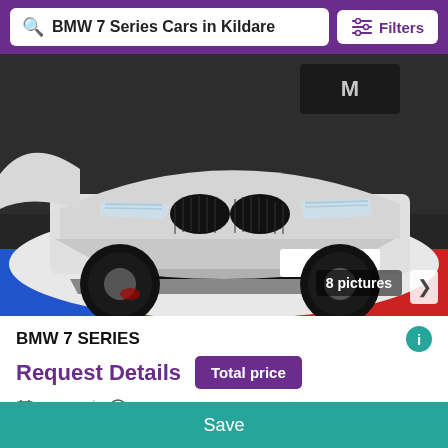BMW 7 Series Cars in Kildare | Filters
[Figure (photo): Front view of a white BMW 7 Series car parked on a colorful floor with blue, purple, and red stripes. BMW M logo visible in background.]
BMW 7 SERIES
Request Details  Total price
2019  |  0 miles
Dublin, Dublin
6 days + 16 hours ago
Save